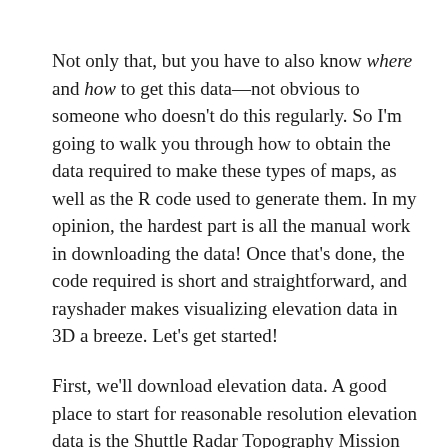Not only that, but you have to also know where and how to get this data—not obvious to someone who doesn't do this regularly. So I'm going to walk you through how to obtain the data required to make these types of maps, as well as the R code used to generate them. In my opinion, the hardest part is all the manual work in downloading the data! Once that's done, the code required is short and straightforward, and rayshader makes visualizing elevation data in 3D a breeze. Let's get started!
First, we'll download elevation data. A good place to start for reasonable resolution elevation data is the Shuttle Radar Topography Mission (SRTM) dataset. It's a global 30 meter resolution dataset (meaning, 30m between each point), and although there are more precise and higher resolution datasets out there,